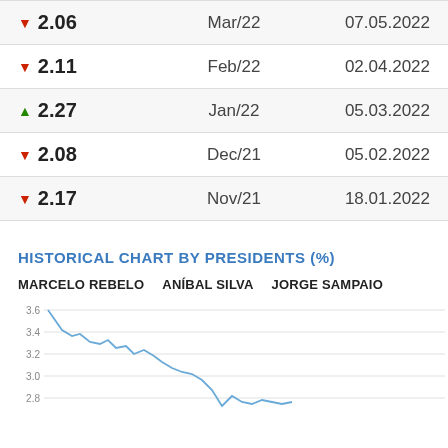| Value | Month | Date |
| --- | --- | --- |
| ▼ 2.06 | Mar/22 | 07.05.2022 |
| ▼ 2.11 | Feb/22 | 02.04.2022 |
| ▲ 2.27 | Jan/22 | 05.03.2022 |
| ▼ 2.08 | Dec/21 | 05.02.2022 |
| ▼ 2.17 | Nov/21 | 18.01.2022 |
HISTORICAL CHART BY PRESIDENTS (%)
MARCELO REBELO   ANÍBAL SILVA   JORGE SAMPAIO
[Figure (line-chart): Line chart showing historical percentage values by presidency (Marcelo Rebelo, Aníbal Silva, Jorge Sampaio). Y-axis shows values from 2.8 to 3.6. The line starts high around 3.6, decreases through the Marcelo Rebelo period, then drops further into lower values around 2.7-2.9 during Aníbal Silva era.]